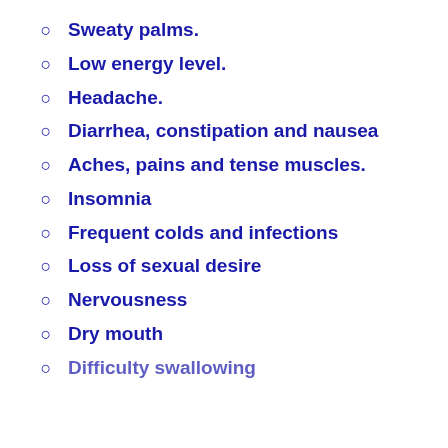Sweaty palms.
Low energy level.
Headache.
Diarrhea, constipation and nausea
Aches, pains and tense muscles.
Insomnia
Frequent colds and infections
Loss of sexual desire
Nervousness
Dry mouth
Difficulty swallowing